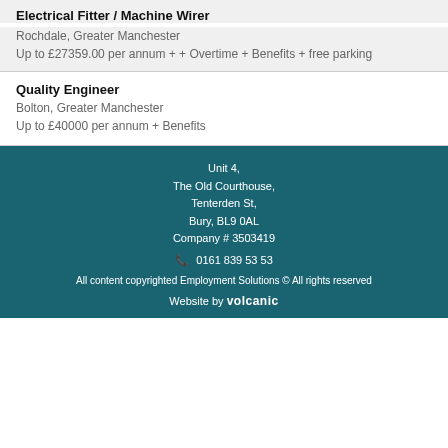Electrical Fitter / Machine Wirer
Rochdale, Greater Manchester
Up to £27359.00 per annum + + Overtime + Benefits + free parking
Quality Engineer
Bolton, Greater Manchester
Up to £40000 per annum + Benefits
Unit 4,
The Old Courthouse,
Tenterden St,
Bury, BL9 0AL
Company # 3503419
0161 839 53 53

All content copyrighted Employment Solutions © All rights reserved

Website by volcanic